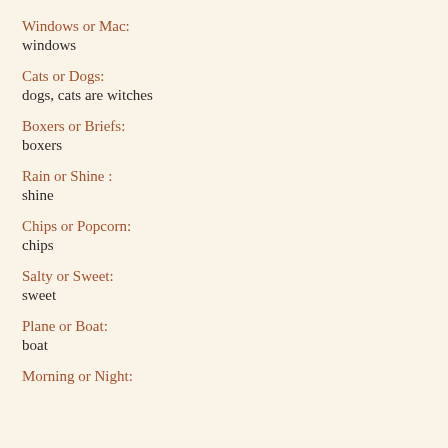Windows or Mac:
windows
Cats or Dogs:
dogs, cats are witches
Boxers or Briefs:
boxers
Rain or Shine :
shine
Chips or Popcorn:
chips
Salty or Sweet:
sweet
Plane or Boat:
boat
Morning or Night: